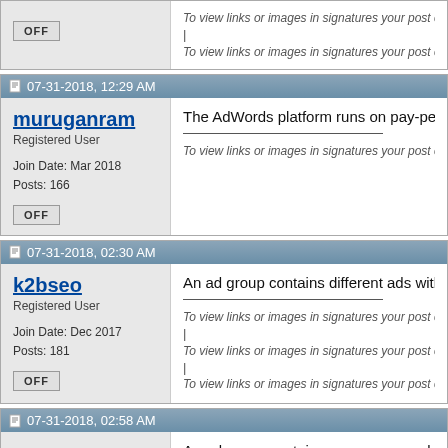To view links or images in signatures your post co...
To view links or images in signatures your post co...
07-31-2018, 12:29 AM
muruganram
Registered User
Join Date: Mar 2018
Posts: 166
The AdWords platform runs on pay-per-cl...
To view links or images in signatures your post co...
07-31-2018, 02:30 AM
k2bseo
Registered User
Join Date: Dec 2017
Posts: 181
An ad group contains different ads with a...
To view links or images in signatures your post co...
|
To view links or images in signatures your post co...
|
To view links or images in signatures your post co...
07-31-2018, 02:58 AM
An ad group contains one or more ads wh...